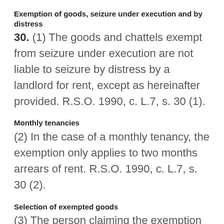Exemption of goods, seizure under execution and by distress
30. (1) The goods and chattels exempt from seizure under execution are not liable to seizure by distress by a landlord for rent, except as hereinafter provided. R.S.O. 1990, c. L.7, s. 30 (1).
Monthly tenancies
(2) In the case of a monthly tenancy, the exemption only applies to two months arrears of rent. R.S.O. 1990, c. L.7, s. 30 (2).
Selection of exempted goods
(3) The person claiming the exemption shall select and point out the goods and chattels that the person claims to be exempt. R.S.O. 1990,